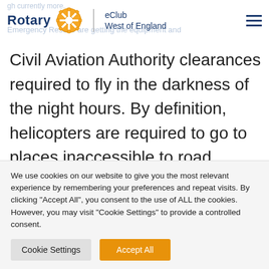Rotary eClub West of England
Civil Aviation Authority clearances required to fly in the darkness of the night hours. By definition, helicopters are required to go to places inaccessible to road vehicles. For example, horse riding, running and mountain biking accidents often happen in places which cannot be accessed by a road vehicle
We use cookies on our website to give you the most relevant experience by remembering your preferences and repeat visits. By clicking "Accept All", you consent to the use of ALL the cookies. However, you may visit "Cookie Settings" to provide a controlled consent.